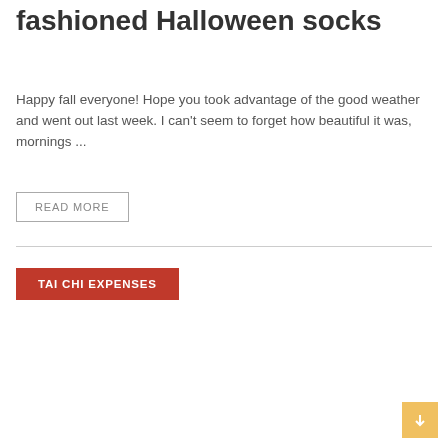fashioned Halloween socks
Happy fall everyone! Hope you took advantage of the good weather and went out last week. I can’t seem to forget how beautiful it was, mornings ...
READ MORE
TAI CHI EXPENSES